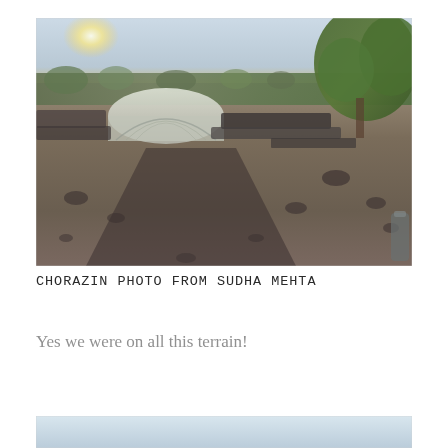[Figure (photo): Photograph of Chorazin archaeological site showing rocky terrain with scattered black basalt stones, ruins, a tent/greenhouse structure, trees including a green tree on the right, and dry gravel ground in the foreground. Sky visible at top.]
CHORAZIN PHOTO FROM SUDHA MEHTA
Yes we were on all this terrain!
[Figure (photo): Partial view of another photograph at the bottom of the page, showing a light sky.]